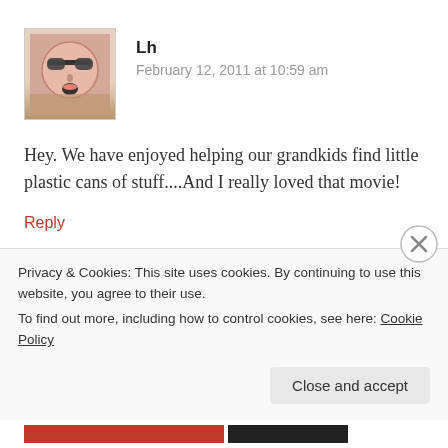[Figure (illustration): Avatar icon of a cartoon face with sunglasses and open mouth on a peach/tan background]
Lh
February 12, 2011 at 10:59 am
Hey. We have enjoyed helping our grandkids find little plastic cans of stuff....And I really loved that movie!
Reply
Surely you have something to say about this...
Privacy & Cookies: This site uses cookies. By continuing to use this website, you agree to their use.
To find out more, including how to control cookies, see here: Cookie Policy
Close and accept